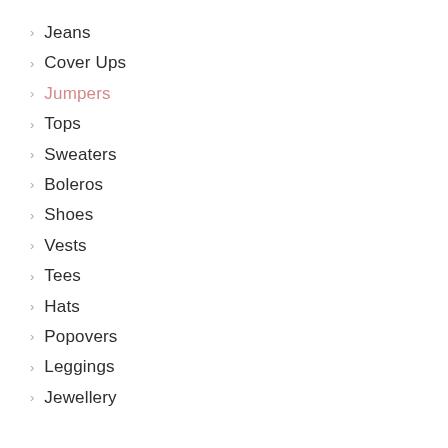Jeans
Cover Ups
Jumpers
Tops
Sweaters
Boleros
Shoes
Vests
Tees
Hats
Popovers
Leggings
Jewellery